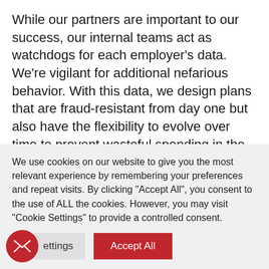While our partners are important to our success, our internal teams act as watchdogs for each employer's data. We're vigilant for additional nefarious behavior. With this data, we design plans that are fraud-resistant from day one but also have the flexibility to evolve over time to prevent wasteful spending in the future.
When we are equipped with the right data, we can pick the best doctors, eliminate fraud, and achieve
We use cookies on our website to give you the most relevant experience by remembering your preferences and repeat visits. By clicking "Accept All", you consent to the use of ALL the cookies. However, you may visit "Cookie Settings" to provide a controlled consent.